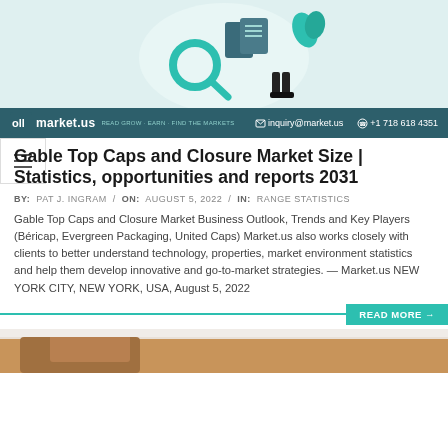[Figure (illustration): Market research illustration showing a person with a magnifying glass and documents on a light teal circular background]
market.us | inquiry@market.us | +1 718 618 4351
Gable Top Caps and Closure Market Size | Statistics, opportunities and reports 2031
BY: PAT J. INGRAM / ON: AUGUST 5, 2022 / IN: RANGE STATISTICS
Gable Top Caps and Closure Market Business Outlook, Trends and Key Players (Béricap, Evergreen Packaging, United Caps) Market.us also works closely with clients to better understand technology, properties, market environment statistics and help them develop innovative and go-to-market strategies. — Market.us NEW YORK CITY, NEW YORK, USA, August 5, 2022
[Figure (photo): Partial photo of a product or packaging at the bottom of the page]